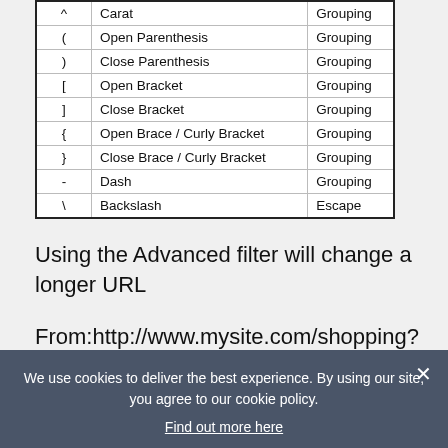| Symbol | Name | Kind |
| --- | --- | --- |
| ^ | Carat | Grouping |
| ( | Open Parenthesis | Grouping |
| ) | Close Parenthesis | Grouping |
| [ | Open Bracket | Grouping |
| ] | Close Bracket | Grouping |
| { | Open Brace / Curly Bracket | Grouping |
| } | Close Brace / Curly Bracket | Grouping |
| - | Dash | Grouping |
| \ | Backslash | Escape |
Using the Advanced filter will change a longer URL
From:http://www.mysite.com/shopping?qsrc=43&o=0&x=ref&stf=FL:BR&q=red+chair
To: /shopping/o=0/qsrc=43/q=red+chair
We use cookies to deliver the best experience. By using our site, you agree to our cookie policy.
Find out more here